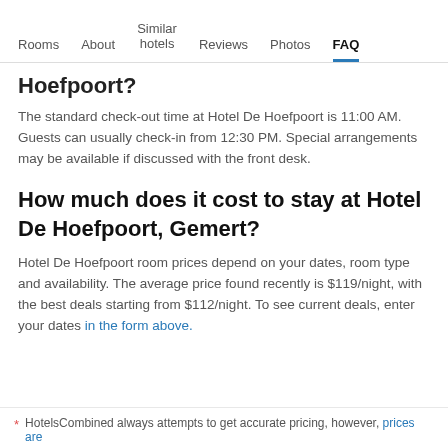Rooms | About | Similar hotels | Reviews | Photos | FAQ
Hoefpoort?
The standard check-out time at Hotel De Hoefpoort is 11:00 AM. Guests can usually check-in from 12:30 PM. Special arrangements may be available if discussed with the front desk.
How much does it cost to stay at Hotel De Hoefpoort, Gemert?
Hotel De Hoefpoort room prices depend on your dates, room type and availability. The average price found recently is $119/night, with the best deals starting from $112/night. To see current deals, enter your dates in the form above.
* HotelsCombined always attempts to get accurate pricing, however, prices are...